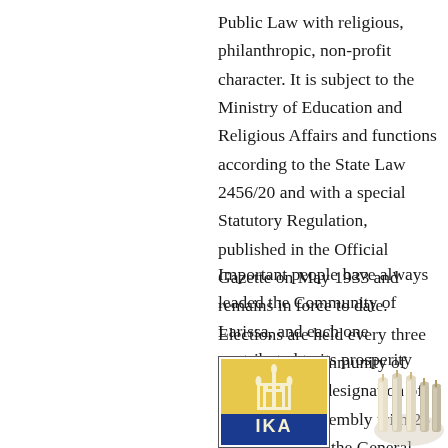Public Law with religious, philanthropic, non-profit character. It is subject to the Ministry of Education and Religious Affairs and functions according to the State Law 2456/20 and with a special Statutory Regulation, published in the Official Gazette on May 1933 and remains in force to date. Elections are held every three years in the Community of Larissa for the designation of the General Assembly with 25 members. Then the General Assembly elects the Board with 6 members, which also has three-years tenure and exercises the administration with the President of the Community being in charge.
Important people have always leaded the Community of Larissa, and each one contributed to its prosperity and growth.
[Figure (logo): IKA logo with menorah symbol and blue text]
[Figure (photo): Image of ceremonial candles or Torah pointers (Yad)]